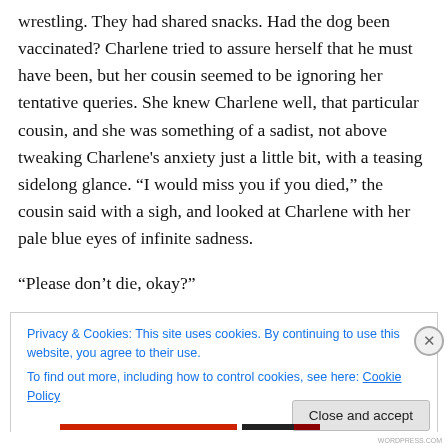wrestling. They had shared snacks. Had the dog been vaccinated? Charlene tried to assure herself that he must have been, but her cousin seemed to be ignoring her tentative queries. She knew Charlene well, that particular cousin, and she was something of a sadist, not above tweaking Charlene's anxiety just a little bit, with a teasing sidelong glance. “I would miss you if you died,” the cousin said with a sigh, and looked at Charlene with her pale blue eyes of infinite sadness.
“Please don’t die, okay?”
Privacy & Cookies: This site uses cookies. By continuing to use this website, you agree to their use.
To find out more, including how to control cookies, see here: Cookie Policy